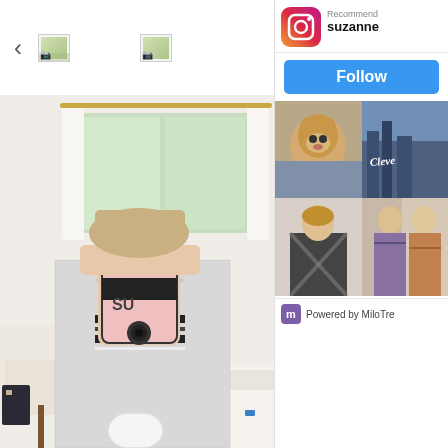[Figure (screenshot): A screenshot of a webpage showing a mirror selfie photo on the left and an Instagram recommendation widget on the right. The main photo shows a person holding an iPhone with a pink/black striped case in front of their face, wearing a houndstooth blazer, standing in a bright white room. The right panel shows an Instagram 'Recommended' widget with username 'suzanne' and a Follow button, plus a grid of Instagram photos and 'Powered by MiloTre...' at the bottom. The navigation bar shows a left arrow and two broken image icons.]